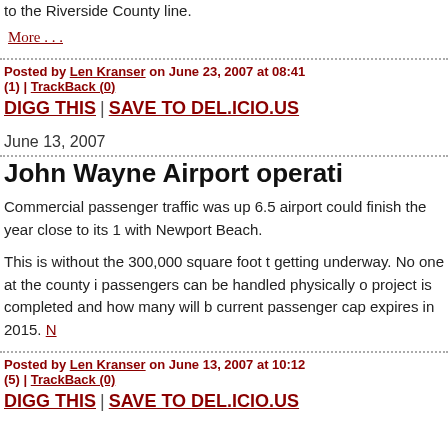to the Riverside County line.
More . . .
Posted by Len Kranser on June 23, 2007 at 08:41 (1) | TrackBack (0)
DIGG THIS | SAVE TO DEL.ICIO.US
June 13, 2007
John Wayne Airport operati
Commercial passenger traffic was up 6.5 airport could finish the year close to its 1 with Newport Beach.
This is without the 300,000 square foot t getting underway. No one at the county i passengers can be handled physically o project is completed and how many will b current passenger cap expires in 2015.
Posted by Len Kranser on June 13, 2007 at 10:12 (5) | TrackBack (0)
DIGG THIS | SAVE TO DEL.ICIO.US